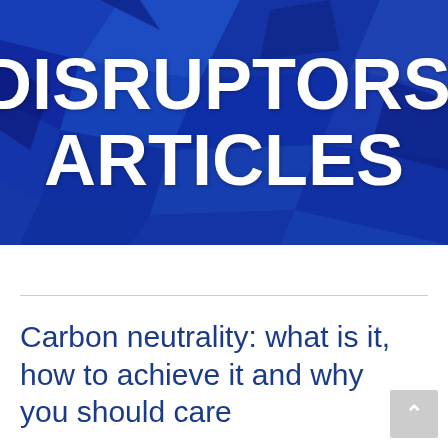[Figure (illustration): Blue geometric polygon/crystal abstract background banner with the text DISRUPTORS' ARTICLES in large white bold font centered over it]
Carbon neutrality: what is it, how to achieve it and why you should care